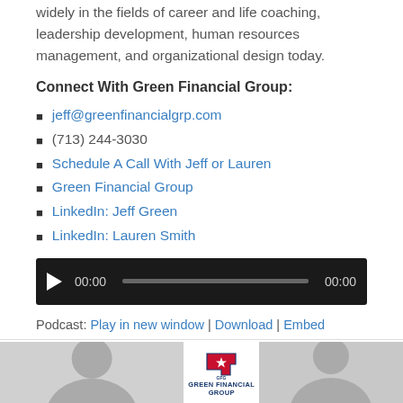widely in the fields of career and life coaching, leadership development, human resources management, and organizational design today.
Connect With Green Financial Group:
jeff@greenfinancialgrp.com
(713) 244-3030
Schedule A Call With Jeff or Lauren
Green Financial Group
LinkedIn: Jeff Green
LinkedIn: Lauren Smith
[Figure (other): Audio podcast player with play button, progress bar, and time display showing 00:00]
Podcast: Play in new window | Download | Embed
[Figure (photo): Photo strip showing two people (woman on left, man on right) with Green Financial Group logo in center]